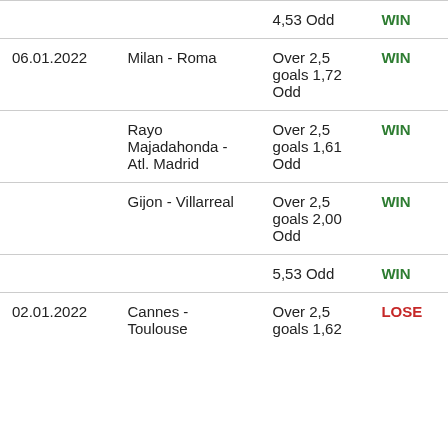| Date | Match | Bet | Result |
| --- | --- | --- | --- |
|  |  | 4,53 Odd | WIN |
| 06.01.2022 | Milan - Roma | Over 2,5 goals 1,72 Odd | WIN |
|  | Rayo Majadahonda - Atl. Madrid | Over 2,5 goals 1,61 Odd | WIN |
|  | Gijon - Villarreal | Over 2,5 goals 2,00 Odd | WIN |
|  |  | 5,53 Odd | WIN |
| 02.01.2022 | Cannes - Toulouse | Over 2,5 goals 1,62 | LOSE |